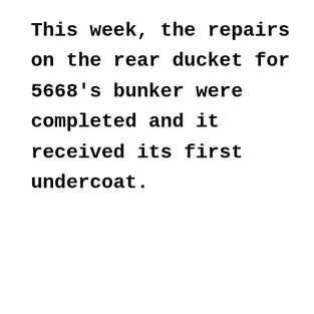This week, the repairs on the rear ducket for 5668's bunker were completed and it received its first undercoat.